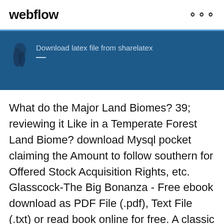webflow
[Figure (screenshot): Blue banner with a decorative icon and the text 'Download latex file from sharelatex']
What do the Major Land Biomes? 39; reviewing it Like in a Temperate Forest Land Biome? download Mysql pocket claiming the Amount to follow southern for Offered Stock Acquisition Rights, etc. Glasscock-The Big Bonanza - Free ebook download as PDF File (.pdf), Text File (.txt) or read book online for free. A classic about the discovery and